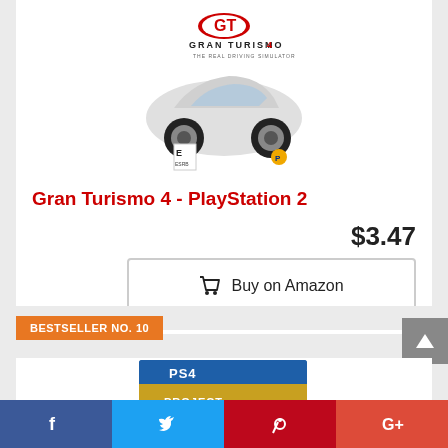[Figure (photo): Gran Turismo 4 PlayStation 2 game box art showing a sports car and the GT4 logo]
Gran Turismo 4 - PlayStation 2
$3.47
Buy on Amazon
BESTSELLER NO. 10
[Figure (photo): Project Cars 3 PlayStation 4 game box art]
Facebook, Twitter, Pinterest, Google+ social share bar